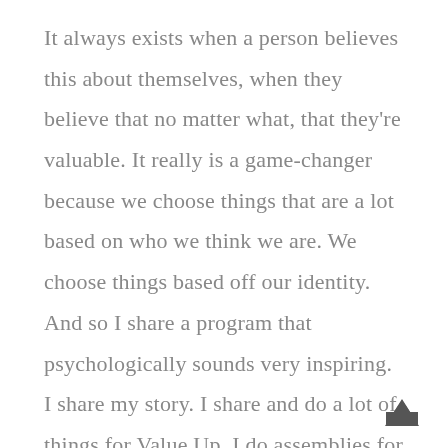It always exists when a person believes this about themselves, when they believe that no matter what, that they're valuable. It really is a game-changer because we choose things that are a lot based on who we think we are. We choose things based off our identity. And so I share a program that psychologically sounds very inspiring. I share my story. I share and do a lot of things for Value Up. I do assemblies for schools. I start clubs in schools that become a positive force for co positive cultural change in the school. I do teacher trainings and professional development. And then I do